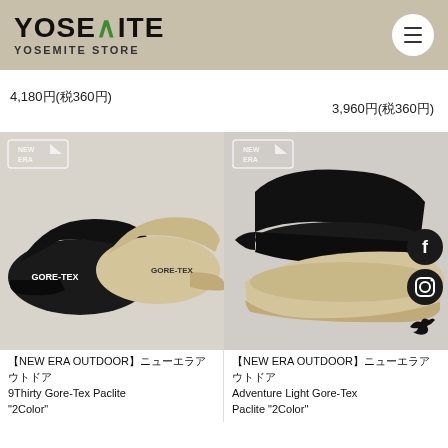YOSEMITE YOSEMITE STORE
4,180円(税360円)
3,960円(税360円)
[Figure (photo): Two GORE-TEX New Era caps in black and beige, with New Era logo watermark]
[Figure (photo): Black and beige New Era Adventure bucket hats with New Era logo watermark and social media icons]
【NEW ERA OUTDOOR】ニューエラアウトドア 9Thirty Gore-Tex Paclite "2Color"
【NEW ERA OUTDOOR】ニューエラアウトドア Adventure Light Gore-Tex Paclite "2Color"